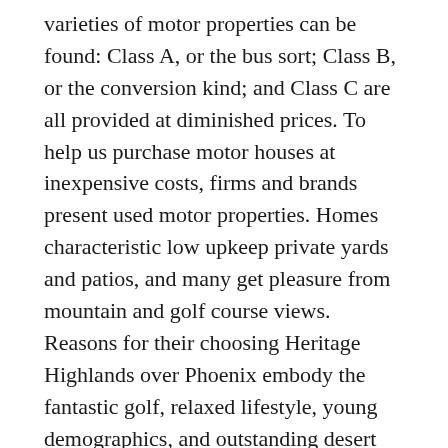varieties of motor properties can be found: Class A, or the bus sort; Class B, or the conversion kind; and Class C are all provided at diminished prices. To help us purchase motor houses at inexpensive costs, firms and brands present used motor properties. Homes characteristic low upkeep private yards and patios, and many get pleasure from mountain and golf course views. Reasons for their choosing Heritage Highlands over Phoenix embody the fantastic golf, relaxed lifestyle, young demographics, and outstanding desert and mountain scenery. Many Canadian homeowners considered shopping for in metro Phoenix prior to discovering Heritage Highlands.
Consumer Reports has a web based brochure that will help anybody considering shopping for a manufactured house on their web site. In good shape, they might help to make our holidays and vacations